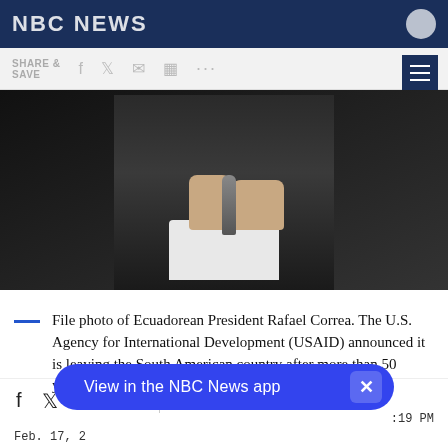NBC NEWS
[Figure (photo): File photo of Ecuadorean President Rafael Correa — man in dark suit holding microphone with one hand, gesturing with other hand]
File photo of Ecuadorean President Rafael Correa. The U.S. Agency for International Development (USAID) announced it is leaving the South American country after more than 50 years. RODRIGO BUENDIA / AFP - Getty Images
Feb. 17, 2:19 PM UTC